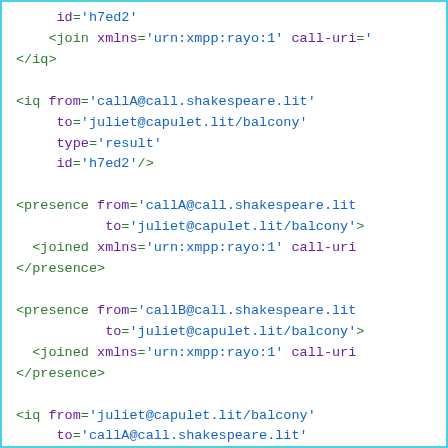id='h7ed2'
    <join xmlns='urn:xmpp:rayo:1' call-uri='
</iq>

<iq from='callA@call.shakespeare.lit'
     to='juliet@capulet.lit/balcony'
     type='result'
     id='h7ed2'/>

<presence from='callA@call.shakespeare.lit'
           to='juliet@capulet.lit/balcony'>
  <joined xmlns='urn:xmpp:rayo:1' call-uri
</presence>

<presence from='callB@call.shakespeare.lit'
           to='juliet@capulet.lit/balcony'>
  <joined xmlns='urn:xmpp:rayo:1' call-uri
</presence>

<iq from='juliet@capulet.lit/balcony'
     to='callA@call.shakespeare.lit'
     type='set'